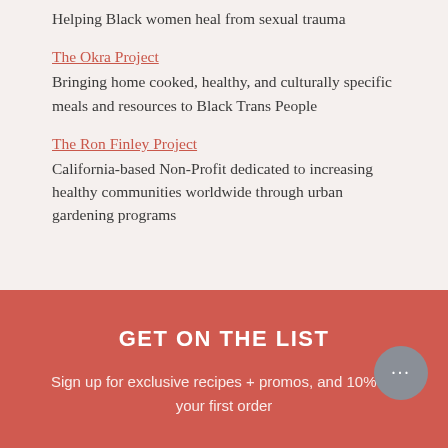Helping Black women heal from sexual trauma
The Okra Project
Bringing home cooked, healthy, and culturally specific meals and resources to Black Trans People
The Ron Finley Project
California-based Non-Profit dedicated to increasing healthy communities worldwide through urban gardening programs
GET ON THE LIST
Sign up for exclusive recipes + promos, and 10% off your first order